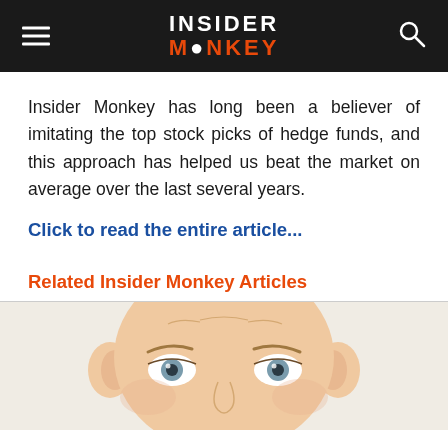INSIDER MONKEY
Insider Monkey has long been a believer of imitating the top stock picks of hedge funds, and this approach has helped us beat the market on average over the last several years.
Click to read the entire article...
Related Insider Monkey Articles
[Figure (illustration): Illustrated caricature of a bald man with blue-grey eyes, cartoon style]